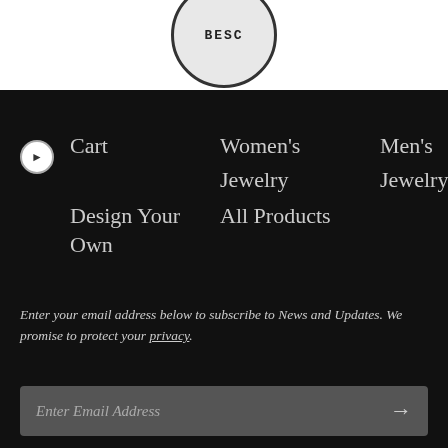[Figure (logo): Circular logo with text 'BESC' or similar, partially visible at top]
Cart
Women's Jewelry
Men's Jewelry
Design Your Own
All Products
Enter your email address below to subscribe to News and Updates. We promise to protect your privacy.
Enter Email Address